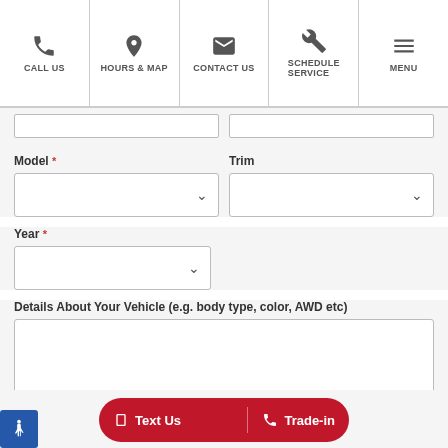CALL US | HOURS & MAP | CONTACT US | SCHEDULE SERVICE | MENU
Model * | Trim
Year *
Details About Your Vehicle (e.g. body type, color, AWD etc)
Text Us | Trade-in